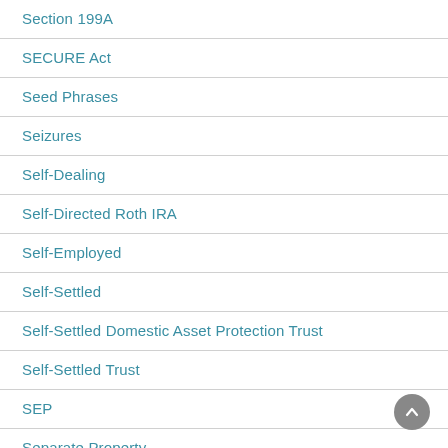Section 199A
SECURE Act
Seed Phrases
Seizures
Self-Dealing
Self-Directed Roth IRA
Self-Employed
Self-Settled
Self-Settled Domestic Asset Protection Trust
Self-Settled Trust
SEP
Separate Property
Separate Trusts